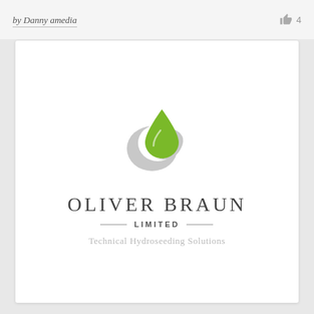by Danny amedia
4
[Figure (logo): Oliver Braun Limited logo: a green water droplet overlapping a grey swoosh/crescent shape, with company name OLIVER BRAUN LIMITED and tagline Technical Hydroseeding Solutions]